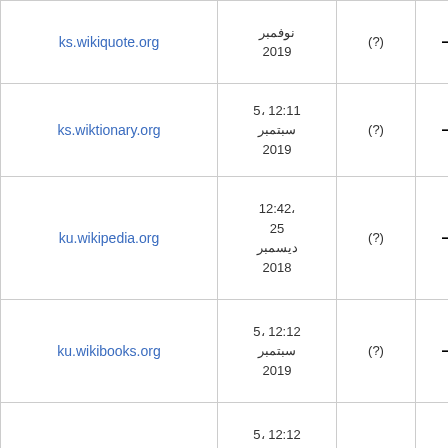| — | (?) | نوفمبر 2019 | ks.wikiquote.org |
| — | (?) | 12:11 ،5 سبتمبر 2019 | ks.wiktionary.org |
| — | (?) | 12:42، 25 ديسمبر 2018 | ku.wikipedia.org |
| — | (?) | 12:12 ،5 سبتمبر 2019 | ku.wikibooks.org |
| — | (?) | 12:12 ،5 سبتمبر 2019 | ku.wikiquote.org |
|  |  | 07:26، |  |